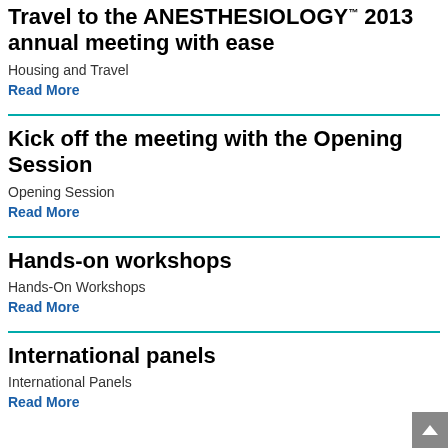Travel to the ANESTHESIOLOGY™ 2013 annual meeting with ease
Housing and Travel
Read More
Kick off the meeting with the Opening Session
Opening Session
Read More
Hands-on workshops
Hands-On Workshops
Read More
International panels
International Panels
Read More